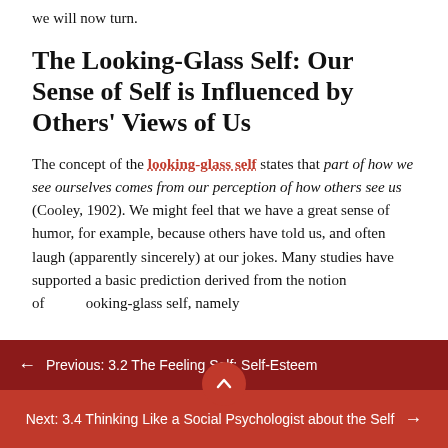we will now turn.
The Looking-Glass Self: Our Sense of Self is Influenced by Others' Views of Us
The concept of the looking-glass self states that part of how we see ourselves comes from our perception of how others see us (Cooley, 1902). We might feel that we have a great sense of humor, for example, because others have told us, and often laugh (apparently sincerely) at our jokes. Many studies have supported a basic prediction derived from the notion of looking-glass self, namely
← Previous: 3.2 The Feeling Self: Self-Esteem
Next: 3.4 Thinking Like a Social Psychologist about the Self →